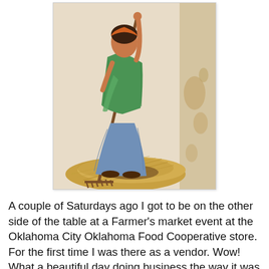[Figure (illustration): A painting or mural of a person wearing a green top and blue skirt, using a long-handled rake to rake hay or straw. The figure is standing on a pile of golden straw. To the right of the painting is a wall with peeling paint.]
A couple of Saturdays ago I got to be on the other side of the table at a Farmer's market event at the Oklahoma City Oklahoma Food Cooperative store. For the first time I was there as a vendor. Wow! What a beautiful day doing business the way it was done for many years at this location in it's prime. Getting to know these farmers and regular variety garden folk was really touching to me. Plants make people happy, pure and simple. And I got to give part of that happiness. I was there selling cards and garden seeds but I